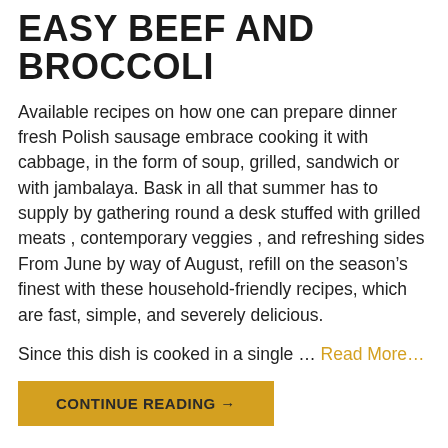EASY BEEF AND BROCCOLI
Available recipes on how one can prepare dinner fresh Polish sausage embrace cooking it with cabbage, in the form of soup, grilled, sandwich or with jambalaya. Bask in all that summer has to supply by gathering round a desk stuffed with grilled meats , contemporary veggies , and refreshing sides From June by way of August, refill on the season’s finest with these household-friendly recipes, which are fast, simple, and severely delicious.
Since this dish is cooked in a single ... Read More...
CONTINUE READING →